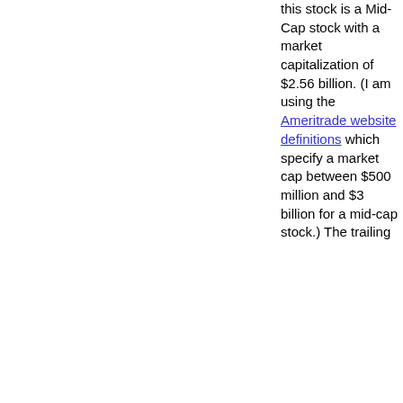this stock is a Mid-Cap stock with a market capitalization of $2.56 billion. (I am using the Ameritrade website definitions which specify a market cap between $500 million and $3 billion for a mid-cap stock.) The trailing